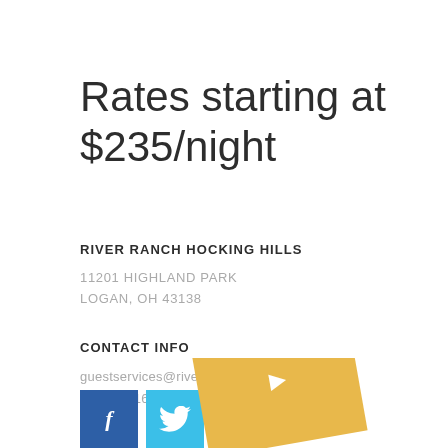Rates starting at $235/night
RIVER RANCH HOCKING HILLS
11201 HIGHLAND PARK
LOGAN, OH 43138
CONTACT INFO
guestservices@riverranchhockinghills.com
+1 740-216-4717
[Figure (other): Social media icons: Facebook (blue), Twitter (light blue), and a tilted yellow/gold square with a YouTube-style icon at bottom of page]